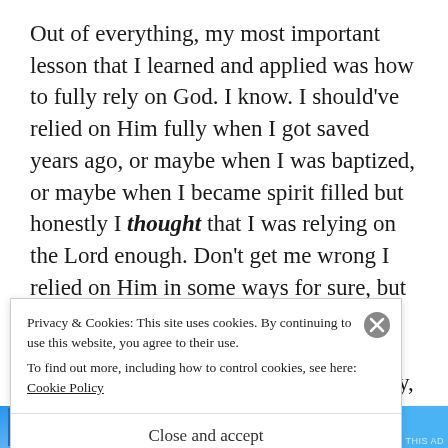Out of everything, my most important lesson that I learned and applied was how to fully rely on God. I know. I should've relied on Him fully when I got saved years ago, or maybe when I was baptized, or maybe when I became spirit filled but honestly I thought that I was relying on the Lord enough. Don't get me wrong I relied on Him in some ways for sure, but it wasn't a daily effort for me.. it was laziness on my part. I was relying on myself, my parents, siblings, job stability, because that is easier than
Privacy & Cookies: This site uses cookies. By continuing to use this website, you agree to their use.
To find out more, including how to control cookies, see here: Cookie Policy
Close and accept
[Figure (other): Blue advertisement banner at the bottom of the page with an image thumbnail on the left side]